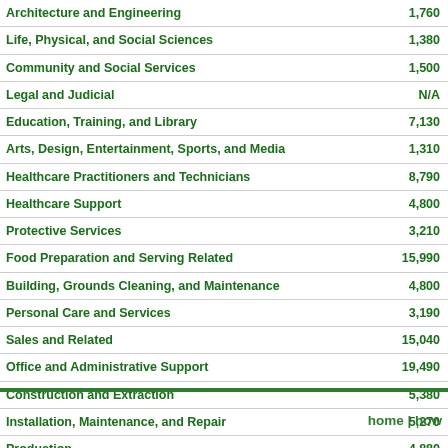| Occupation | Employment |
| --- | --- |
| Architecture and Engineering | 1,760 |
| Life, Physical, and Social Sciences | 1,380 |
| Community and Social Services | 1,500 |
| Legal and Judicial | N/A |
| Education, Training, and Library | 7,130 |
| Arts, Design, Entertainment, Sports, and Media | 1,310 |
| Healthcare Practitioners and Technicians | 8,790 |
| Healthcare Support | 4,800 |
| Protective Services | 3,210 |
| Food Preparation and Serving Related | 15,990 |
| Building, Grounds Cleaning, and Maintenance | 4,800 |
| Personal Care and Services | 3,190 |
| Sales and Related | 15,040 |
| Office and Administrative Support | 19,490 |
| Construction and Extraction | 5,380 |
| Installation, Maintenance, and Repair | 5,270 |
| Production | 4,880 |
| Transportation and Material Moving | 7,460 |
home | how